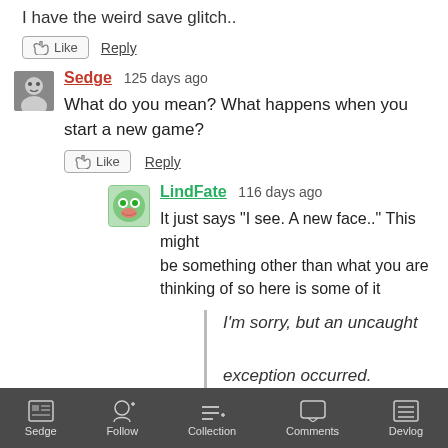I have the weird save glitch..
Like   Reply
Sedge  125 days ago
What do you mean? What happens when you start a new game?
Like   Reply
LindFate  116 days ago
It just says "I see. A new face.." This might be something other than what you are thinking of so here is some of it
I'm sorry, but an uncaught exception occurred.

While loading <'Image'